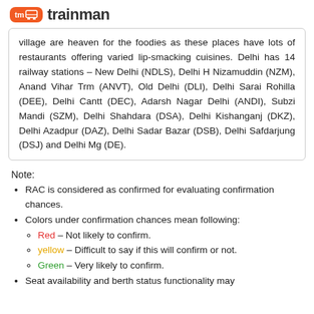tm trainman
village are heaven for the foodies as these places have lots of restaurants offering varied lip-smacking cuisines. Delhi has 14 railway stations – New Delhi (NDLS), Delhi H Nizamuddin (NZM), Anand Vihar Trm (ANVT), Old Delhi (DLI), Delhi Sarai Rohilla (DEE), Delhi Cantt (DEC), Adarsh Nagar Delhi (ANDI), Subzi Mandi (SZM), Delhi Shahdara (DSA), Delhi Kishanganj (DKZ), Delhi Azadpur (DAZ), Delhi Sadar Bazar (DSB), Delhi Safdarjung (DSJ) and Delhi Mg (DE).
Note:
RAC is considered as confirmed for evaluating confirmation chances.
Colors under confirmation chances mean following:
Red – Not likely to confirm.
yellow – Difficult to say if this will confirm or not.
Green – Very likely to confirm.
Seat availability and berth status functionality may